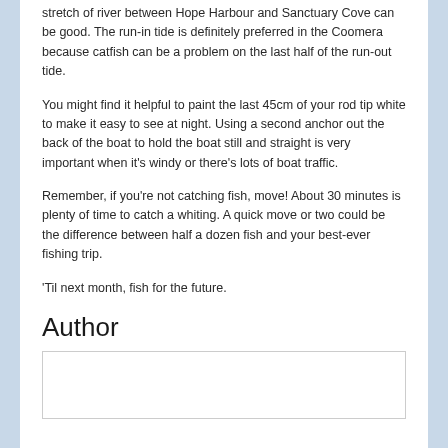stretch of river between Hope Harbour and Sanctuary Cove can be good. The run-in tide is definitely preferred in the Coomera because catfish can be a problem on the last half of the run-out tide.
You might find it helpful to paint the last 45cm of your rod tip white to make it easy to see at night. Using a second anchor out the back of the boat to hold the boat still and straight is very important when it's windy or there's lots of boat traffic.
Remember, if you're not catching fish, move! About 30 minutes is plenty of time to catch a whiting. A quick move or two could be the difference between half a dozen fish and your best-ever fishing trip.
'Til next month, fish for the future.
Author
[Figure (other): Author box — empty bordered rectangle placeholder for author content]